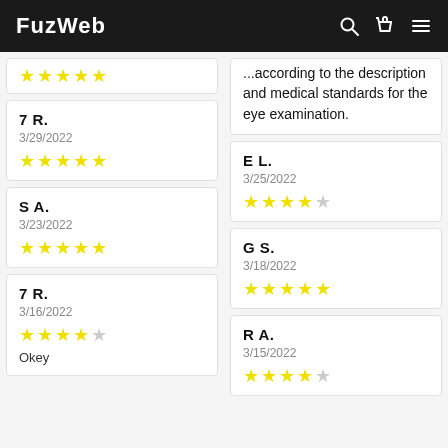FuzWeb
...according to the description and medical standards for the eye examination.
7 R.
3/29/2022
★★★★★
E L.
3/25/2022
★★★★☆
S A.
3/23/2022
★★★★★
G S.
3/18/2022
★★★★★
7 R.
3/16/2022
★★★★☆
Okey
R A.
3/15/2022
★★★☆☆